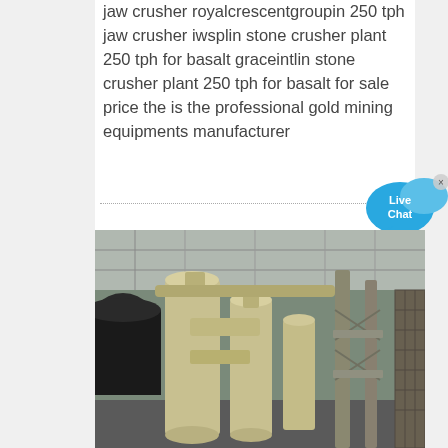jaw crusher royalcrescentgroupin 250 tph jaw crusher iwsplin stone crusher plant 250 tph for basalt graceintlin stone crusher plant 250 tph for basalt for sale price the is the professional gold mining equipments manufacturer
[Figure (illustration): Live Chat button widget - blue speech bubble with 'Live Chat' text and a close X button]
[Figure (photo): Industrial stone crusher plant interior showing large yellow/cream colored cylindrical grinding mill equipment and conveyor structures inside a factory building with metal roof]